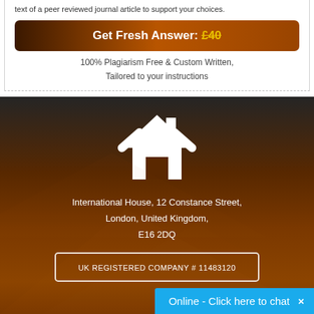text of a peer reviewed journal article to support your choices.
Get Fresh Answer: £40
100% Plagiarism Free & Custom Written, Tailored to your instructions
[Figure (illustration): White house icon on dark brown gradient background]
International House, 12 Constance Street, London, United Kingdom, E16 2DQ
UK REGISTERED COMPANY # 11483120
Online - Click here to chat ×